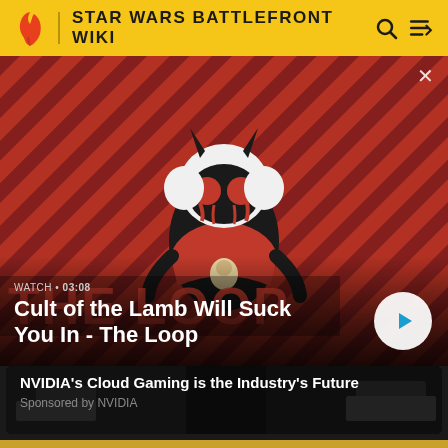STAR WARS BATTLEFRONT WIKI
[Figure (screenshot): Video thumbnail showing Cult of the Lamb character on a red and black diagonal striped background with THE LOOP logo text]
WATCH • 03:08
Cult of the Lamb Will Suck You In - The Loop
[Figure (screenshot): Dark screenshot showing gaming/tech imagery related to NVIDIA Cloud Gaming article]
NVIDIA's Cloud Gaming is the Industry's Future
Sponsored by NVIDIA